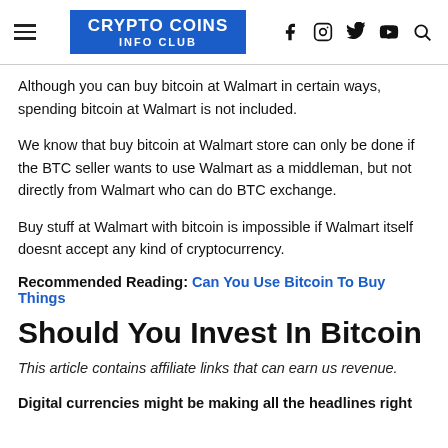CRYPTO COINS INFO CLUB
Although you can buy bitcoin at Walmart in certain ways, spending bitcoin at Walmart is not included.
We know that buy bitcoin at Walmart store can only be done if the BTC seller wants to use Walmart as a middleman, but not directly from Walmart who can do BTC exchange.
Buy stuff at Walmart with bitcoin is impossible if Walmart itself doesnt accept any kind of cryptocurrency.
Recommended Reading: Can You Use Bitcoin To Buy Things
Should You Invest In Bitcoin
This article contains affiliate links that can earn us revenue.
Digital currencies might be making all the headlines right